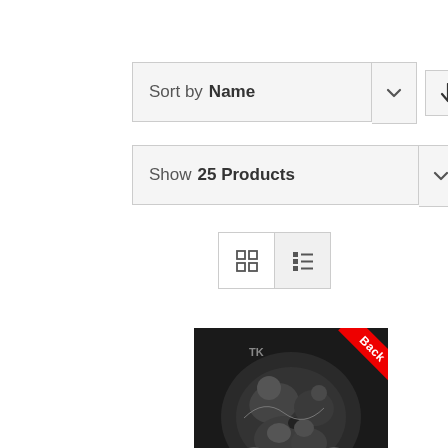Sort by Name
Show 25 Products
[Figure (screenshot): View toggle buttons: grid view and list view icons]
[Figure (photo): Album cover artwork in black and white with red Back badge in top right corner]
(A) TRUTH / KALAZAAR: split (7") DIY